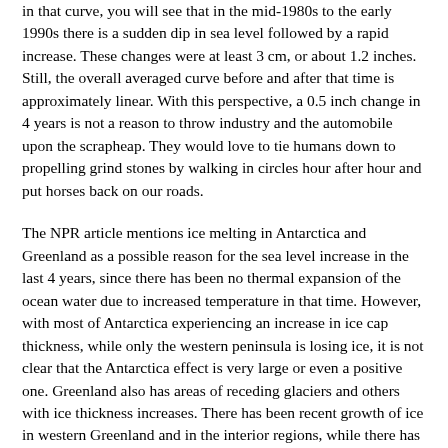in that curve, you will see that in the mid-1980s to the early 1990s there is a sudden dip in sea level followed by a rapid increase. These changes were at least 3 cm, or about 1.2 inches. Still, the overall averaged curve before and after that time is approximately linear. With this perspective, a 0.5 inch change in 4 years is not a reason to throw industry and the automobile upon the scrapheap. They would love to tie humans down to propelling grind stones by walking in circles hour after hour and put horses back on our roads.
The NPR article mentions ice melting in Antarctica and Greenland as a possible reason for the sea level increase in the last 4 years, since there has been no thermal expansion of the ocean water due to increased temperature in that time. However, with most of Antarctica experiencing an increase in ice cap thickness, while only the western peninsula is losing ice, it is not clear that the Antarctica effect is very large or even a positive one. Greenland also has areas of receding glaciers and others with ice thickness increases. There has been recent growth of ice in western Greenland and in the interior regions, while there has been loss of ice near the sea on the eastern side. What is the net effect on the sea level?